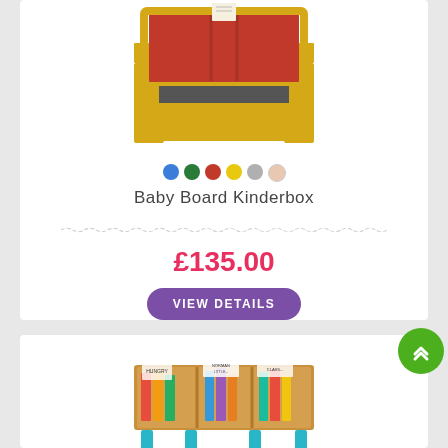[Figure (photo): Baby Board Kinderbox product photo - a yellow and red wooden storage box/desk unit for children]
[Figure (infographic): Six color option dots: blue, green, red, yellow, grey, peach]
Baby Board Kinderbox
£135.00
VIEW DETAILS
[Figure (photo): Second product photo - a wooden storage/book display table with teal legs filled with colorful books]